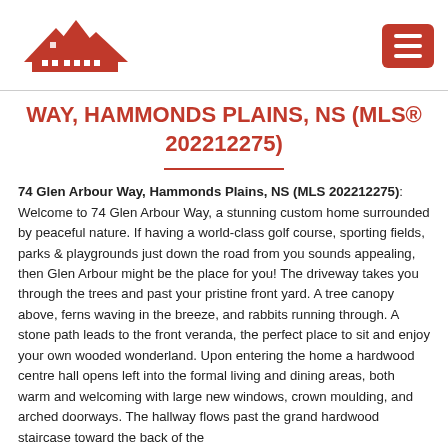[Figure (logo): Red house/roof logo with small house icons]
WAY, HAMMONDS PLAINS, NS (MLS® 202212275)
74 Glen Arbour Way, Hammonds Plains, NS (MLS 202212275): Welcome to 74 Glen Arbour Way, a stunning custom home surrounded by peaceful nature. If having a world-class golf course, sporting fields, parks & playgrounds just down the road from you sounds appealing, then Glen Arbour might be the place for you! The driveway takes you through the trees and past your pristine front yard. A tree canopy above, ferns waving in the breeze, and rabbits running through. A stone path leads to the front veranda, the perfect place to sit and enjoy your own wooded wonderland. Upon entering the home a hardwood centre hall opens left into the formal living and dining areas, both warm and welcoming with large new windows, crown moulding, and arched doorways. The hallway flows past the grand hardwood staircase toward the back of the